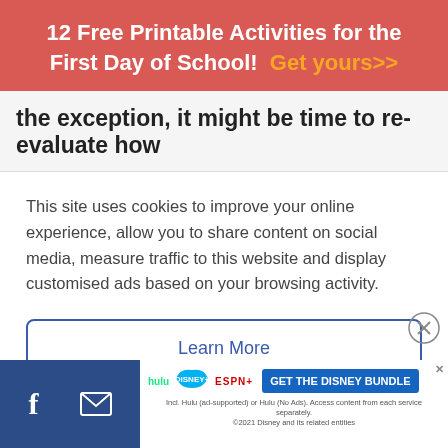12 Free Printable Activities for the First Day of School! Get yours>>
the exception, it might be time to re-evaluate how
This site uses cookies to improve your online experience, allow you to share content on social media, measure traffic to this website and display customised ads based on your browsing activity.
Learn More
Accept
[Figure (screenshot): Cookie consent modal overlay with Learn More and Accept buttons]
[Figure (screenshot): Disney Bundle advertisement banner at bottom: Hulu, Disney+, ESPN+ logos with GET THE DISNEY BUNDLE button and fine print]